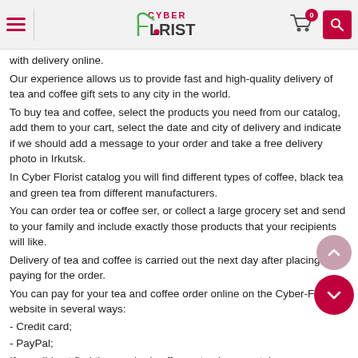Cyber Florist - header with hamburger menu, logo, cart (0), search
with delivery online.
Our experience allows us to provide fast and high-quality delivery of tea and coffee gift sets to any city in the world.
To buy tea and coffee, select the products you need from our catalog, add them to your cart, select the date and city of delivery and indicate if we should add a message to your order and take a free delivery photo in Irkutsk.
In Cyber Florist catalog you will find different types of coffee, black tea and green tea from different manufacturers.
You can order tea or coffee ser, or collect a large grocery set and send to your family and include exactly those products that your recipients will like.
Delivery of tea and coffee is carried out the next day after placing and paying for the order.
You can pay for your tea and coffee order online on the Cyber-Florist website in several ways:
- Credit card;
- PayPal;
If you did not find the required coffee or tea in our catalog, you can place a Custom order and indicate a specific brand, variety and the type of tea or coffee you want to order.